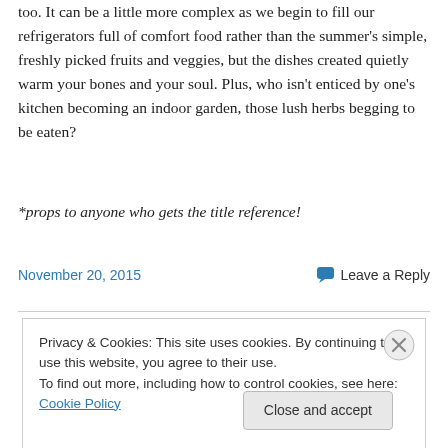too. It can be a little more complex as we begin to fill our refrigerators full of comfort food rather than the summer's simple, freshly picked fruits and veggies, but the dishes created quietly warm your bones and your soul. Plus, who isn't enticed by one's kitchen becoming an indoor garden, those lush herbs begging to be eaten?
*props to anyone who gets the title reference!
November 20, 2015    Leave a Reply
Privacy & Cookies: This site uses cookies. By continuing to use this website, you agree to their use.
To find out more, including how to control cookies, see here: Cookie Policy
Close and accept